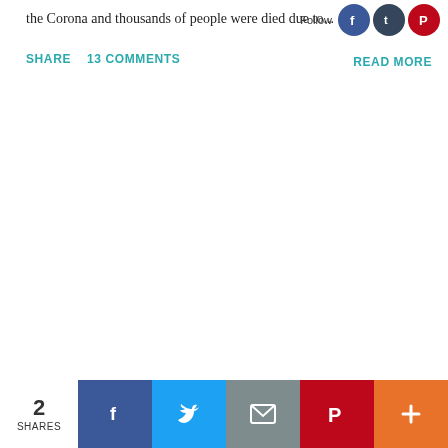the Corona and thousands of people were died due to...
[Figure (infographic): Social media follow icons: Facebook (blue circle), Tumblr (dark circle), Pinterest (red circle) with 'Follow' label]
SHARE   13 COMMENTS
READ MORE
[Figure (infographic): Bottom share bar: '2 SHARES' count, then buttons for Facebook (blue), Twitter (light blue), Email (grey), Pinterest (red), More/Plus (orange)]